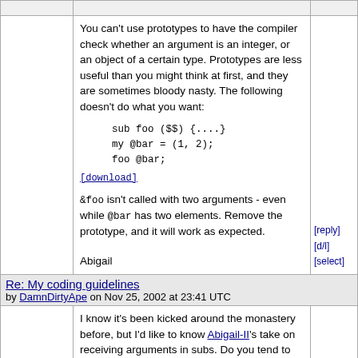You can't use prototypes to have the compiler check whether an argument is an integer, or an object of a certain type. Prototypes are less useful than you might think at first, and they are sometimes bloody nasty. The following doesn't do what you want:
sub foo ($$) {....}
my @bar = (1, 2);
foo @bar;
[download]
&foo isn't called with two arguments - even while @bar has two elements. Remove the prototype, and it will work as expected.
Abigail
[reply]
[d/l]
[select]
Re: My coding guidelines
by DamnDirtyApe on Nov 25, 2002 at 23:41 UTC
I know it's been kicked around the monastery before, but I'd like to know Abigail-II's take on receiving arguments in subs. Do you tend to more towards $x = shift; $y = shift; ..., or ($x, $y) = @_;, or some combination of the two,